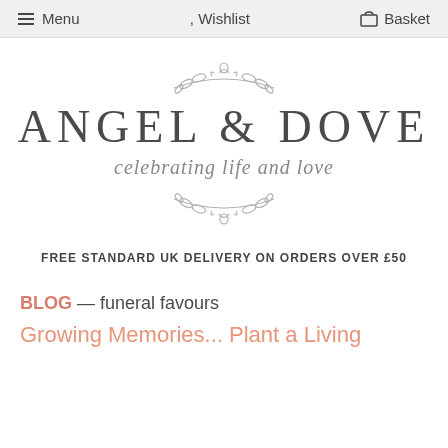Menu  Wishlist  Basket
[Figure (logo): Angel & Dove logo with decorative botanical branch elements above and below, tagline 'celebrating life and love']
FREE STANDARD UK DELIVERY ON ORDERS OVER £50
BLOG — funeral favours
Growing Memories... Plant a Living